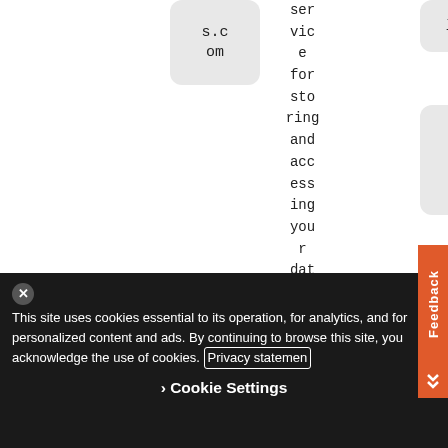[Figure (screenshot): A documentation page screenshot showing a partial table or diagram with code boxes containing 's.com', 'policy', 'storage.buckets.list', and vertical text reading 'service for storing and accessing your data on Google's infr...' with an orange Feedback tab on the right side.]
This site uses cookies essential to its operation, for analytics, and for personalized content and ads. By continuing to browse this site, you acknowledge the use of cookies. Privacy statemen
Cookie Settings